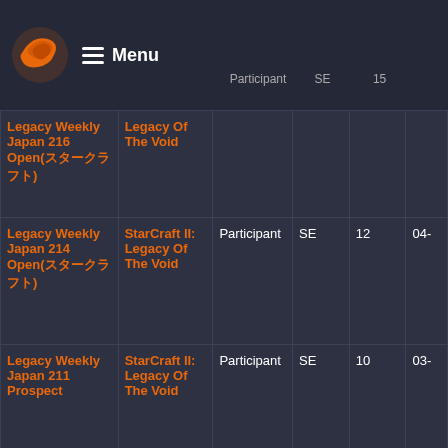Menu
| Tournament | Game | Placement | Format | Players | Date |
| --- | --- | --- | --- | --- | --- |
| Legacy Weekly Japan 216 Open(スタークラフト) | StarCraft II: Legacy Of The Void |  |  |  |  |
| Legacy Weekly Japan 214 Open(スタークラフト) | StarCraft II: Legacy Of The Void | Participant | SE | 12 | 04- |
| Legacy Weekly Japan 211 Prospect | StarCraft II: Legacy Of The Void | Participant | SE | 10 | 03- |
| Legacy Weekly Japan | StarCraft II: | Participant | SE | 13 | 03- |